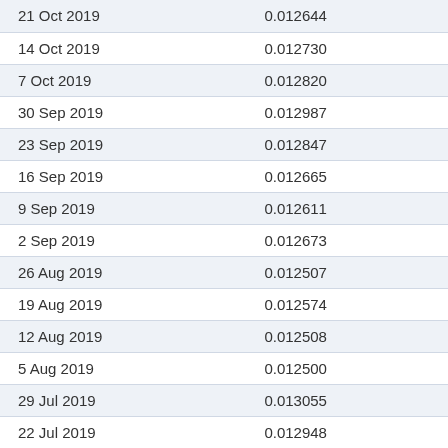| Date | Value |
| --- | --- |
| 21 Oct 2019 | 0.012644 |
| 14 Oct 2019 | 0.012730 |
| 7 Oct 2019 | 0.012820 |
| 30 Sep 2019 | 0.012987 |
| 23 Sep 2019 | 0.012847 |
| 16 Sep 2019 | 0.012665 |
| 9 Sep 2019 | 0.012611 |
| 2 Sep 2019 | 0.012673 |
| 26 Aug 2019 | 0.012507 |
| 19 Aug 2019 | 0.012574 |
| 12 Aug 2019 | 0.012508 |
| 5 Aug 2019 | 0.012500 |
| 29 Jul 2019 | 0.013055 |
| 22 Jul 2019 | 0.012948 |